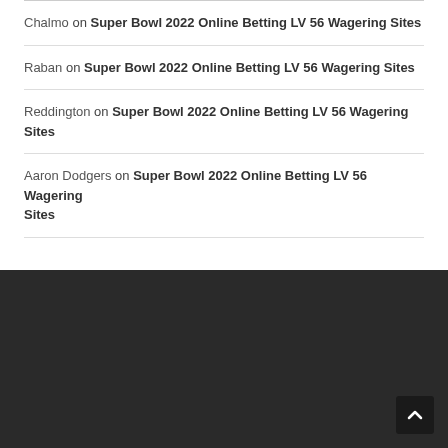Chalmo on Super Bowl 2022 Online Betting LV 56 Wagering Sites
Raban on Super Bowl 2022 Online Betting LV 56 Wagering Sites
Reddington on Super Bowl 2022 Online Betting LV 56 Wagering Sites
Aaron Dodgers on Super Bowl 2022 Online Betting LV 56 Wagering Sites